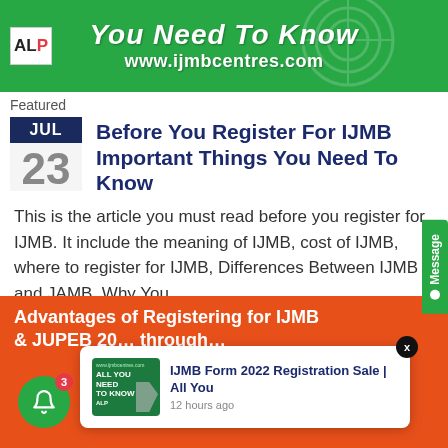[Figure (illustration): Green banner with ALP logo, 'You Need To Know' title text and www.ijmbcentres.com URL]
Featured
Before You Register For IJMB Important Things You Need To Know
This is the article you must read before you register for IJMB. It include the meaning of IJMB, cost of IJMB, where to register for IJMB, Differences Between IJMB and JAMB, Why You
Advantages of Registering for IJMB & JUPEB 20… through…
[Figure (screenshot): Popup notification card: IJMB Form 2022 Registration Sale | All You — 12 hours ago, with thumbnail]
Show More